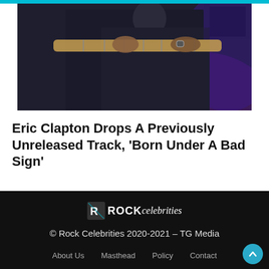[Figure (photo): Eric Clapton playing guitar on stage, dark background with purple/blue lighting, close-up showing hands on guitar neck]
Eric Clapton Drops A Previously Unreleased Track, 'Born Under A Bad Sign'
Elif Ozden · August 19, 2022 · 2 mins read
© Rock Celebrities 2020-2021 – TG Media
About Us   Masthead   Policy   Contact